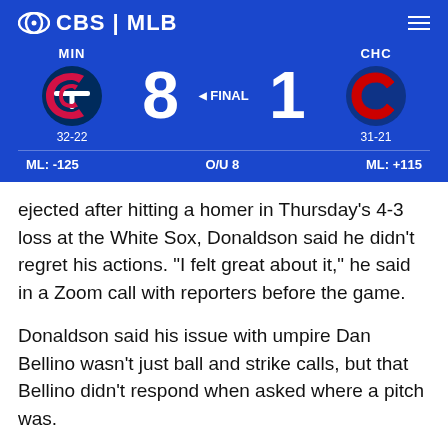CBS | MLB
[Figure (infographic): MLB scoreboard: MIN Twins 8, CHC Cubs 1, FINAL. MIN record 32-22, ML: -125. CHC record 31-21, ML: +115. O/U 8.]
ejected after hitting a homer in Thursday's 4-3 loss at the White Sox, Donaldson said he didn't regret his actions. "I felt great about it," he said in a Zoom call with reporters before the game.
Donaldson said his issue with umpire Dan Bellino wasn't just ball and strike calls, but that Bellino didn't respond when asked where a pitch was.
"At the end of the day, there's no accountability," Donaldson said. "For the most part, they don't care. They want to get